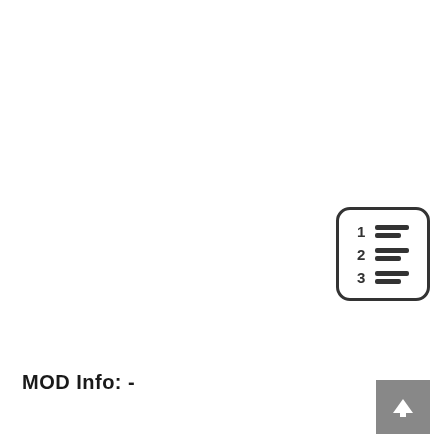[Figure (other): Numbered list icon button with rounded rectangle border, showing numbers 1, 2, 3 with horizontal lines beside each number]
MOD Info: -
[Figure (other): Scroll to top button - grey square with upward pointing arrow icon]